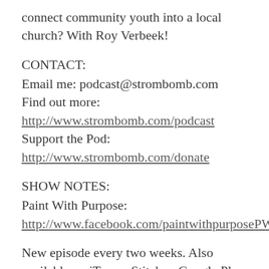connect community youth into a local church? With Roy Verbeek!
CONTACT:
Email me: podcast@strombomb.com
Find out more:
http://www.strombomb.com/podcast
Support the Pod:
http://www.strombomb.com/donate
SHOW NOTES:
Paint With Purpose:
http://www.facebook.com/paintwithpurposePWP
New episode every two weeks. Also available on iTunes, Stitcher, Google Play, SoundCloud, and Amazon's Alexa